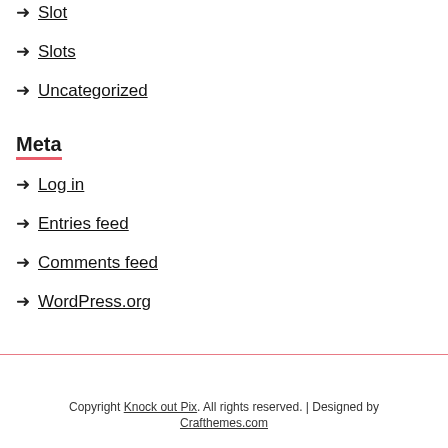→ Slot
→ Slots
→ Uncategorized
Meta
→ Log in
→ Entries feed
→ Comments feed
→ WordPress.org
Copyright Knock out Pix. All rights reserved. | Designed by Crafthemes.com